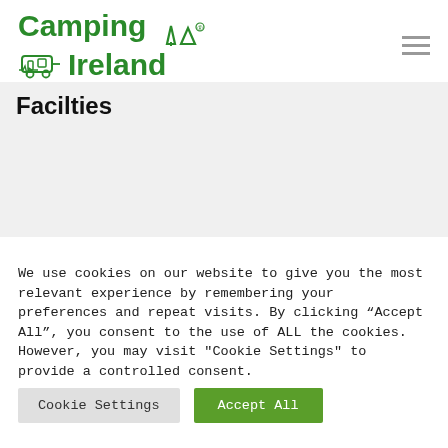[Figure (logo): Camping Ireland logo with green bold text 'Camping Ireland', tree and tent icon, and caravan icon with heartbeat line]
Facilties
We use cookies on our website to give you the most relevant experience by remembering your preferences and repeat visits. By clicking “Accept All”, you consent to the use of ALL the cookies. However, you may visit "Cookie Settings" to provide a controlled consent.
Cookie Settings | Accept All